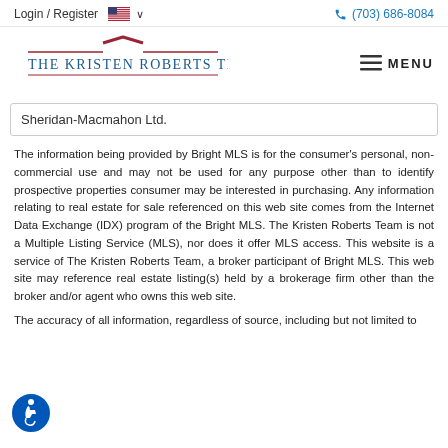Login / Register  🇺🇸 ∨   (703) 686-8084
[Figure (logo): The Kristen Roberts Team logo with house roof icon and horizontal lines]
≡ MENU
Sheridan-Macmahon Ltd.
The information being provided by Bright MLS is for the consumer's personal, non-commercial use and may not be used for any purpose other than to identify prospective properties consumer may be interested in purchasing. Any information relating to real estate for sale referenced on this web site comes from the Internet Data Exchange (IDX) program of the Bright MLS. The Kristen Roberts Team is not a Multiple Listing Service (MLS), nor does it offer MLS access. This website is a service of The Kristen Roberts Team, a broker participant of Bright MLS. This web site may reference real estate listing(s) held by a brokerage firm other than the broker and/or agent who owns this web site.
The accuracy of all information, regardless of source, including but not limited to